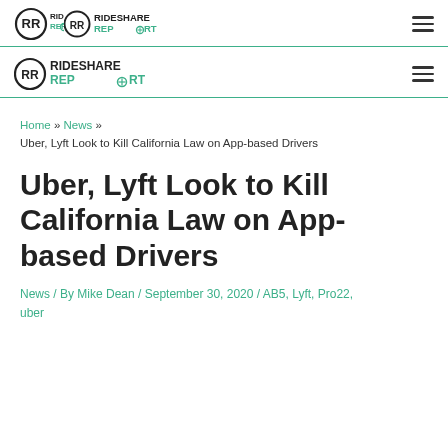RIDESHAREREPORT (logo) - navigation bar top
RIDESHAREREPORT (logo) - navigation bar main
Home » News » Uber, Lyft Look to Kill California Law on App-based Drivers
Uber, Lyft Look to Kill California Law on App-based Drivers
News / By Mike Dean / September 30, 2020 / AB5, Lyft, Pro22, uber